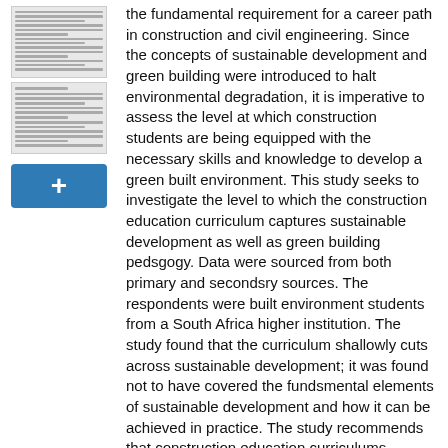[Figure (illustration): Two thumbnail preview images of document pages stacked vertically]
[Figure (other): Blue button with a plus (+) symbol for adding content]
the fundamental requirement for a career path in construction and civil engineering. Since the concepts of sustainable development and green building were introduced to halt environmental degradation, it is imperative to assess the level at which construction students are being equipped with the necessary skills and knowledge to develop a green built environment. This study seeks to investigate the level to which the construction education curriculum captures sustainable development as well as green building pedsgogy. Data were sourced from both primary and secondsry sources. The respondents were built environment students from a South Africa higher institution. The study found that the curriculum shallowly cuts across sustainable development; it was found not to have covered the fundsmental elements of sustainable development and how it can be achieved in practice. The study recommends that construction education curriculums should be reviewed to incorporate green building tracing and it practicability. This would facilitate the